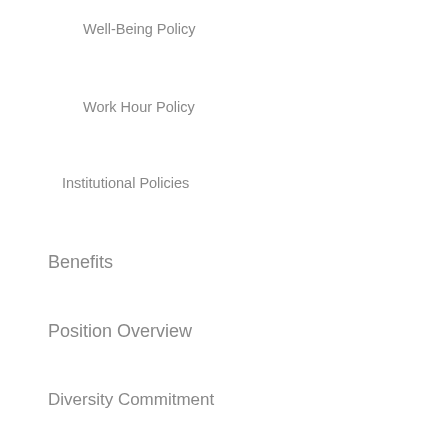Well-Being Policy
Work Hour Policy
Institutional Policies
Benefits
Position Overview
Diversity Commitment
Life in the Upper Valley
Resident & Fellow Orientation
Associated Resident Council